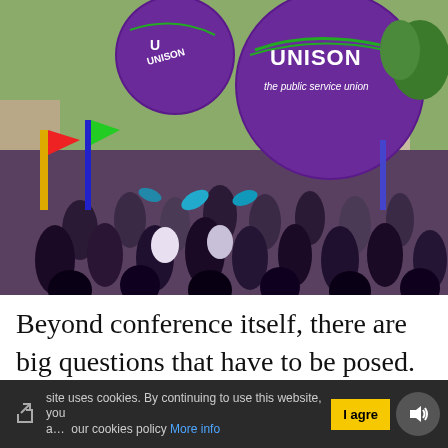[Figure (photo): A large crowd marching with purple UNISON balloons and banners. The balloons display 'UNISON the public service union' branding with green logo. Many people carry colourful flags and decorations.]
Beyond conference itself, there are big questions that have to be posed. How can the left ensure that the fight for real change is developed? How can we carry
site uses cookies. By continuing to use this website, you agree to our cookies policy More info    I agree